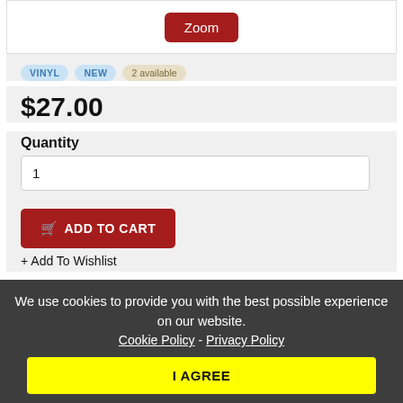[Figure (other): Zoom button over product image area]
VINYL  NEW  2 available
$27.00
Quantity
1
ADD TO CART
+ Add To Wishlist
We use cookies to provide you with the best possible experience on our website. Cookie Policy - Privacy Policy
I AGREE